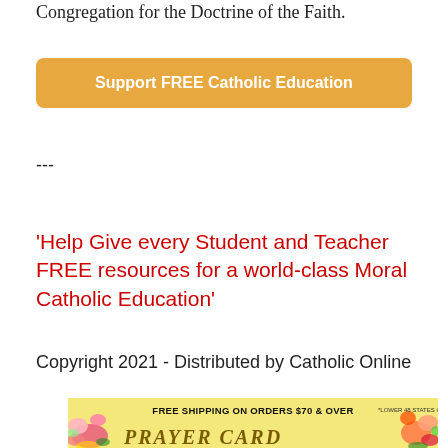Congregation for the Doctrine of the Faith.
[Figure (other): Orange/golden rounded button labeled 'Support FREE Catholic Education']
---
'Help Give every Student and Teacher FREE resources for a world-class Moral Catholic Education'
Copyright 2021 - Distributed by Catholic Online
[Figure (other): Banner advertisement for Prayer Cards with yellow background, floral decorations, text 'FREE SHIPPING ON ORDERS $70 & OVER' and 'PRAYER CARD' text at bottom]